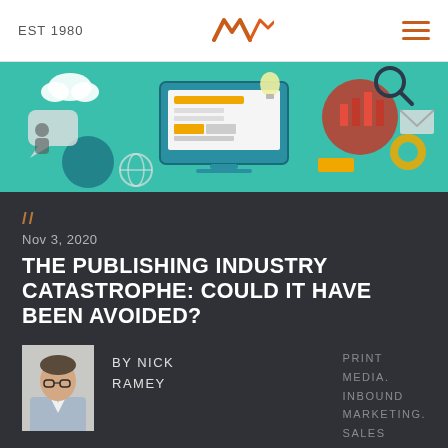EST 1980
[Figure (logo): WAV logo in orange/red zigzag style]
[Figure (illustration): Hero banner with digital marketing icons on teal background: laptop, charts, clouds, gears, magnifying glass, email icon]
//
Nov 3, 2020
THE PUBLISHING INDUSTRY CATASTROPHE: COULD IT HAVE BEEN AVOIDED?
[Figure (photo): Headshot photo of Nick Ramey in light blue blazer]
by NICK RAMEY
PRINT MEDIA. INBOUND MARKETING. SALES